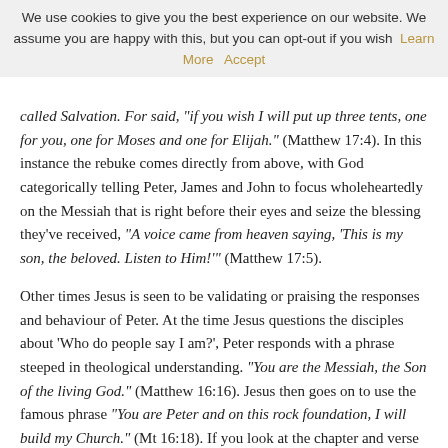We use cookies to give you the best experience on our website. We assume you are happy with this, but you can opt-out if you wish  Learn More  Accept
called Salvation. For said, "if you wish I will put up three tents, one for you, one for Moses and one for Elijah." (Matthew 17:4). In this instance the rebuke comes directly from above, with God categorically telling Peter, James and John to focus wholeheartedly on the Messiah that is right before their eyes and seize the blessing they've received, "A voice came from heaven saying, 'This is my son, the beloved. Listen to Him!'" (Matthew 17:5).
Other times Jesus is seen to be validating or praising the responses and behaviour of Peter. At the time Jesus questions the disciples about 'Who do people say I am?', Peter responds with a phrase steeped in theological understanding. "You are the Messiah, the Son of the living God." (Matthew 16:16). Jesus then goes on to use the famous phrase "You are Peter and on this rock foundation, I will build my Church." (Mt 16:18). If you look at the chapter and verse numbers, you'll see that interestingly all these differing conversations Jesus has with Peter are presented over the course of a couple of chapters. A final affirming quote comes from the discourse after Jesus' resurrection, after reconnecting with the disciples and eating together, Jesus three times questions Peter about his love for him. But